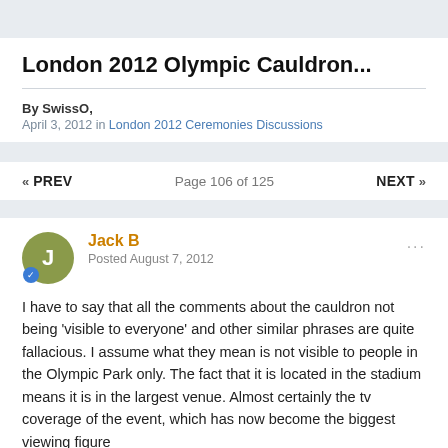London 2012 Olympic Cauldron...
By SwissO,
April 3, 2012 in London 2012 Ceremonies Discussions
« PREV   Page 106 of 125   NEXT »
Jack B
Posted August 7, 2012
I have to say that all the comments about the cauldron not being 'visible to everyone' and other similar phrases are quite fallacious. I assume what they mean is not visible to people in the Olympic Park only. The fact that it is located in the stadium means it is in the largest venue. Almost certainly the tv coverage of the event, which has now become the biggest viewing figure...